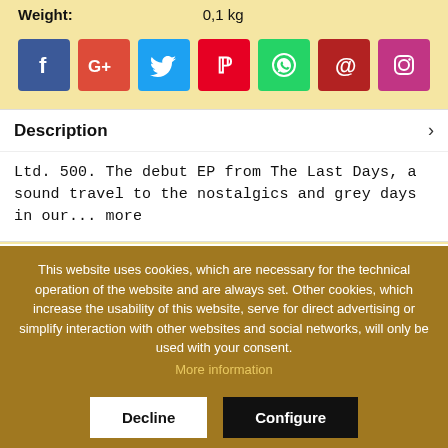Weight: 0,1 kg
[Figure (infographic): Row of 7 colored social media icon buttons: Facebook (blue), Google+ (red), Twitter (light blue), Pinterest (red), WhatsApp (green), Email/@ (dark red), Instagram (pink/magenta)]
Description
Ltd. 500. The debut EP from The Last Days, a sound travel to the nostalgics and grey days in our... more
Reviews 0
This website uses cookies, which are necessary for the technical operation of the website and are always set. Other cookies, which increase the usability of this website, serve for direct advertising or simplify interaction with other websites and social networks, will only be used with your consent. More information
Decline
Configure